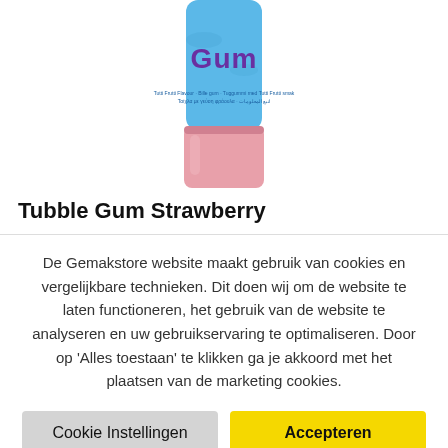[Figure (photo): Tubble Gum Strawberry product tube — blue tube with pink cap, showing 'Gum' text on front, partially cropped at top]
Tubble Gum Strawberry
De Gemakstore website maakt gebruik van cookies en vergelijkbare technieken. Dit doen wij om de website te laten functioneren, het gebruik van de website te analyseren en uw gebruikservaring te optimaliseren. Door op 'Alles toestaan' te klikken ga je akkoord met het plaatsen van de marketing cookies.
Cookie Instellingen
Accepteren